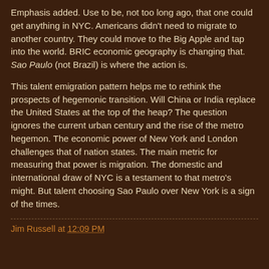Emphasis added. Use to be, not too long ago, that one could get anything in NYC. Americans didn't need to migrate to another country. They could move to the Big Apple and tap into the world. BRIC economic geography is changing that. Sao Paulo (not Brazil) is where the action is.
This talent emigration pattern helps me to rethink the prospects of hegemonic transition. Will China or India replace the United States at the top of the heap? The question ignores the current urban century and the rise of the metro hegemon. The economic power of New York and London challenges that of nation states. The main metric for measuring that power is migration. The domestic and international draw of NYC is a testament to that metro's might. But talent choosing Sao Paulo over New York is a sign of the times.
Jim Russell at 12:09 PM